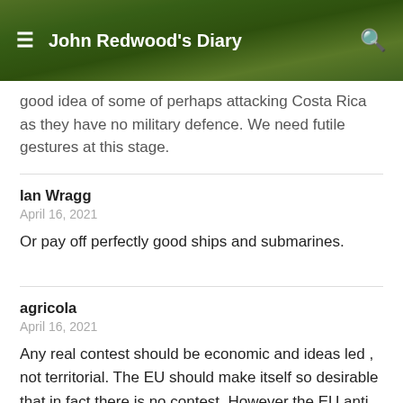John Redwood's Diary
good idea of some of perhaps attacking Costa Rica as they have no military defence. We need futile gestures at this stage.
Ian Wragg
April 16, 2021
Or pay off perfectly good ships and submarines.
agricola
April 16, 2021
Any real contest should be economic and ideas led , not territorial. The EU should make itself so desirable that in fact there is no contest. However the EU anti democratic model